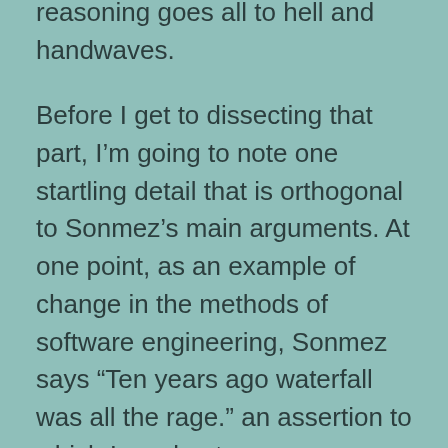reasoning goes all to hell and handwaves.
Before I get to dissecting that part, I'm going to note one startling detail that is orthogonal to Sonmez's main arguments. At one point, as an example of change in the methods of software engineering, Sonmez says “Ten years ago waterfall was all the rage.” an assertion to which I can best sum up my reaction by quoting P.J. O’Rourke’s immortal words from Parliament of Whores, to wit: “What the fuck? I mean…what the fucking fuck?”
Here in the land of open source, waterfall development has been considered a form of